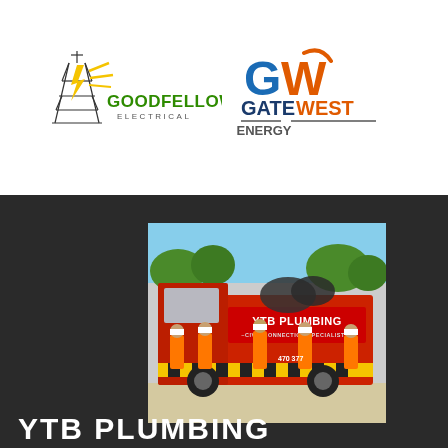[Figure (logo): Goodfellows Electrical logo - tower with lightning bolt, yellow rays, green text]
[Figure (logo): GateWest Energy logo - GW monogram in blue and orange, bold text]
[Figure (photo): Group of workers in orange hi-vis uniforms standing in front of a red YTB Plumbing truck. Text on truck reads YTB PLUMBING - CIVIL CONNECTION SPECIALISTS. Phone number 470 377 visible.]
YTB PLUMBING